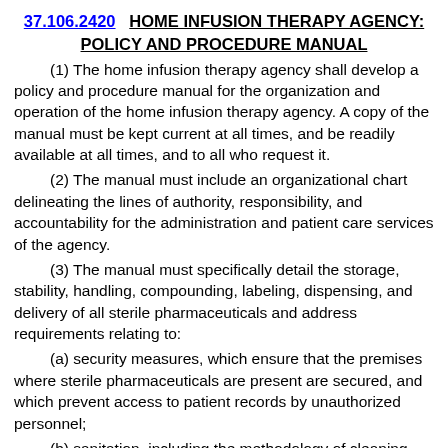37.106.2420    HOME INFUSION THERAPY AGENCY: POLICY AND PROCEDURE MANUAL
(1) The home infusion therapy agency shall develop a policy and procedure manual for the organization and operation of the home infusion therapy agency. A copy of the manual must be kept current at all times, and be readily available at all times, and to all who request it.
(2) The manual must include an organizational chart delineating the lines of authority, responsibility, and accountability for the administration and patient care services of the agency.
(3) The manual must specifically detail the storage, stability, handling, compounding, labeling, dispensing, and delivery of all sterile pharmaceuticals and address requirements relating to:
(a) security measures, which ensure that the premises where sterile pharmaceuticals are present are secured, and which prevent access to patient records by unauthorized personnel;
(b) sanitation, including the methodology of cleaning biological safety cabinets and laminar flow hoods, and of inspecting filters for deterioration and microbial contamination;
(c) the procedures/certifications for sterile cabinet...